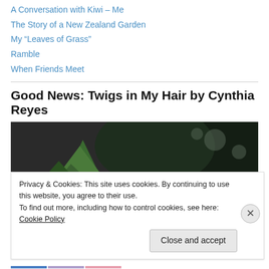A Conversation with Kiwi – Me
The Story of a New Zealand Garden
My “Leaves of Grass”
Ramble
When Friends Meet
Good News: Twigs in My Hair by Cynthia Reyes
[Figure (photo): Outdoor garden/nature photo with large trees, green conifer on left, dark foliage on right. White bold text overlay reads 'Cynthia Reyes'.]
Privacy & Cookies: This site uses cookies. By continuing to use this website, you agree to their use.
To find out more, including how to control cookies, see here: Cookie Policy
Close and accept